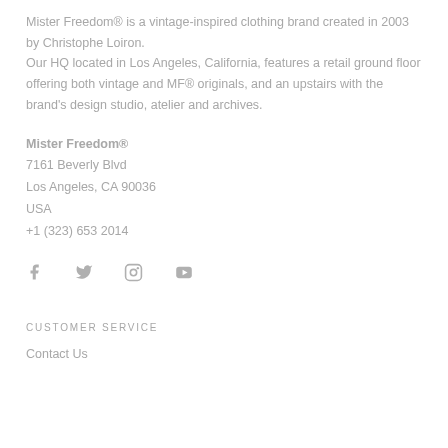Mister Freedom® is a vintage-inspired clothing brand created in 2003 by Christophe Loiron. Our HQ located in Los Angeles, California, features a retail ground floor offering both vintage and MF® originals, and an upstairs with the brand's design studio, atelier and archives.
Mister Freedom®
7161 Beverly Blvd
Los Angeles, CA 90036
USA
+1 (323) 653 2014
[Figure (illustration): Social media icons: Facebook, Twitter, Instagram, YouTube]
CUSTOMER SERVICE
Contact Us